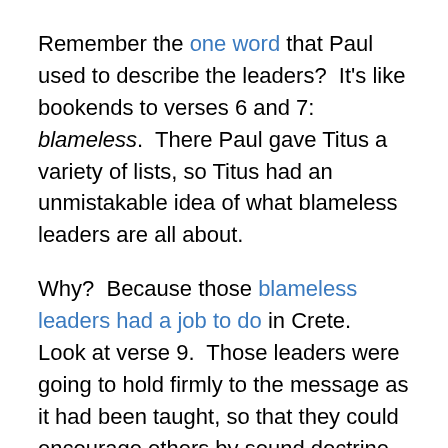Remember the one word that Paul used to describe the leaders?  It's like bookends to verses 6 and 7: blameless.  There Paul gave Titus a variety of lists, so Titus had an unmistakable idea of what blameless leaders are all about.
Why?  Because those blameless leaders had a job to do in Crete.  Look at verse 9.  Those leaders were going to hold firmly to the message as it had been taught, so that they could encourage others by sound doctrine, and refute those who oppose it.
There were people in the church in Crete, Paul is saying, who opposed sound doctrine.  Now in verses 10-16, Paul teaches Titus who these people are and how to refute them.  Go ahead and read Titus 1:10-16, and see if you can discover why Paul is so concerned.